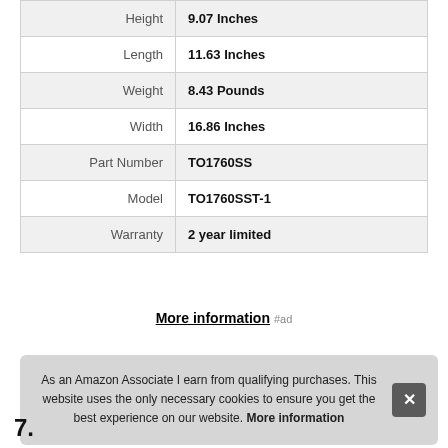| Attribute | Value |
| --- | --- |
| Height | 9.07 Inches |
| Length | 11.63 Inches |
| Weight | 8.43 Pounds |
| Width | 16.86 Inches |
| Part Number | TO1760SS |
| Model | TO1760SST-1 |
| Warranty | 2 year limited |
More information #ad
As an Amazon Associate I earn from qualifying purchases. This website uses the only necessary cookies to ensure you get the best experience on our website. More information